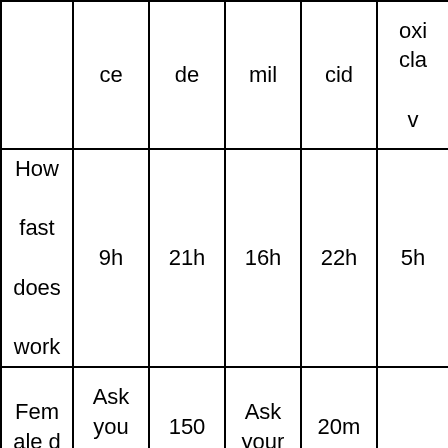|  | ce | de | mil | cid | oxi cla v |
| --- | --- | --- | --- | --- | --- |
| How fast does work | 9h | 21h | 16h | 22h | 5h |
| Fem ale d osag | Ask you r D oct | 150 mg | Ask your Doct | 20m g |  |